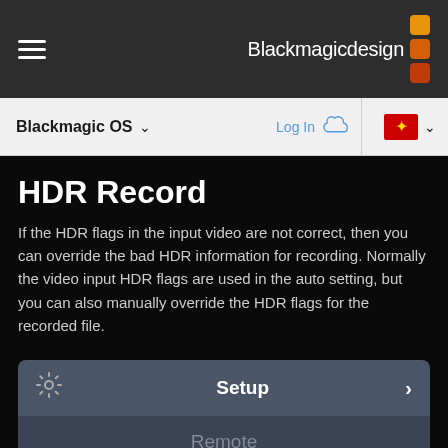Blackmagicdesign
Blackmagic OS
Log In
HDR Record
If the HDR flags in the input video are not correct, then you can override the bad HDR information for recording. Normally the video input HDR flags are used in the auto setting, but you can also manually override the HDR flags for the recorded file.
Setup
Remote